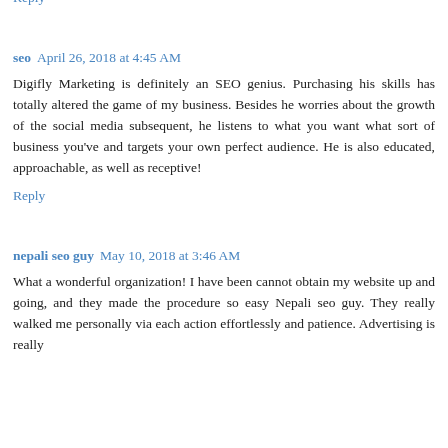would recommend my loved ones as well as pals in order to the digital entrepreneur continuously and they've great actions as well.
Reply
seo  April 26, 2018 at 4:45 AM
Digifly Marketing is definitely an SEO genius. Purchasing his skills has totally altered the game of my business. Besides he worries about the growth of the social media subsequent, he listens to what you want what sort of business you've and targets your own perfect audience. He is also educated, approachable, as well as receptive!
Reply
nepali seo guy  May 10, 2018 at 3:46 AM
What a wonderful organization! I have been cannot obtain my website up and going, and they made the procedure so easy Nepali seo guy. They really walked me personally via each action effortlessly and patience. Advertising is really